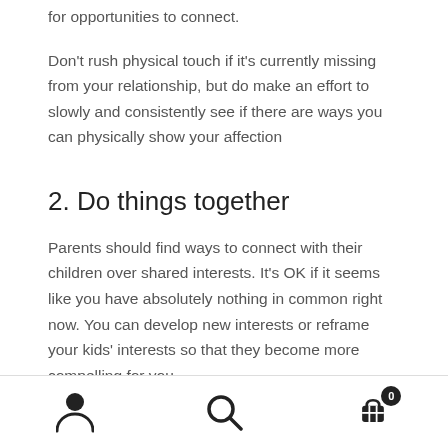Don't rush physical touch if it's currently missing from your relationship, but do make an effort to slowly and consistently see if there are ways you can physically show your affection
2. Do things together
Parents should find ways to connect with their children over shared interests. It's OK if it seems like you have absolutely nothing in common right now. You can develop new interests or reframe your kids' interests so that they become more compelling for you.
Navigation bar with user icon, search icon, and cart icon (0)